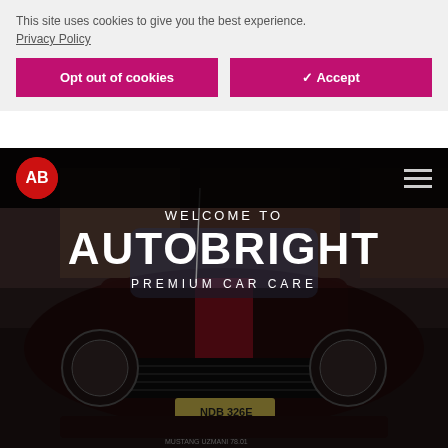This site uses cookies to give you the best experience.
Privacy Policy
Opt out of cookies
✔ Accept
[Figure (photo): Website screenshot showing a cookie consent banner over a dark hero section with a classic Ford Mustang car (front view), logo, and navigation bar. Text overlaid on image reads WELCOME TO / AUTOBRIGHT / PREMIUM CAR CARE.]
WELCOME TO AUTOBRIGHT
PREMIUM CAR CARE